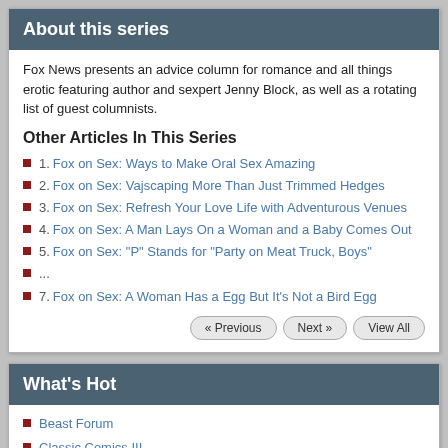About this series
Fox News presents an advice column for romance and all things erotic featuring author and sexpert Jenny Block, as well as a rotating list of guest columnists.
Other Articles In This Series
1. Fox on Sex: Ways to Make Oral Sex Amazing
2. Fox on Sex: Vajscaping More Than Just Trimmed Hedges
3. Fox on Sex: Refresh Your Love Life with Adventurous Venues
4. Fox on Sex: A Man Lays On a Woman and a Baby Comes Out
5. Fox on Sex: "P" Stands for "Party on Meat Truck, Boys"
...
7. Fox on Sex: A Woman Has a Egg But It's Not a Bird Egg
What's Hot
Beast Forum
Classic Comics III
DEAR FURRIES: WE WERE WRONG
The War for Lake Michigan